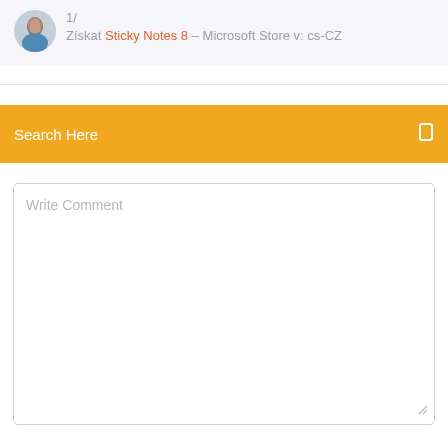[Figure (photo): Avatar photo of a man with short hair, circular crop]
1/
Získat Sticky Notes 8 – Microsoft Store v: cs-CZ
Search Here
Write Comment